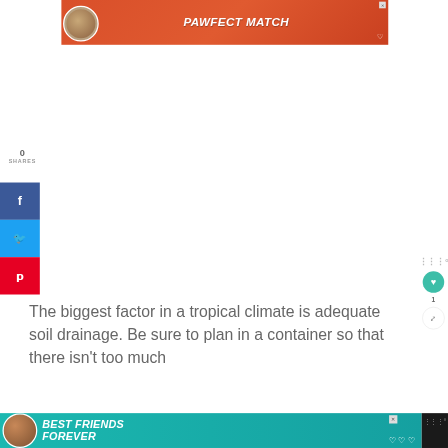[Figure (other): Top advertisement banner with orange-red background, cat image on left, text 'PAWFECT MATCH' in white bold italic, small X close button top right, heart icon bottom right]
0
SHARES
[Figure (other): Facebook share button (blue), Twitter share button (light blue), Pinterest share button (red), stacked vertically on left side]
[Figure (other): Right side floating widget with dots icon, teal heart button with count 1, and share icon]
The biggest factor in a tropical climate is adequate soil drainage. Be sure to plan in a container so that there isn't too much
[Figure (other): Bottom advertisement banner with teal background, cat image on left, text 'BEST FRIENDS FOREVER' in white bold italic, X close button, dark sidebar on right with dots icon]